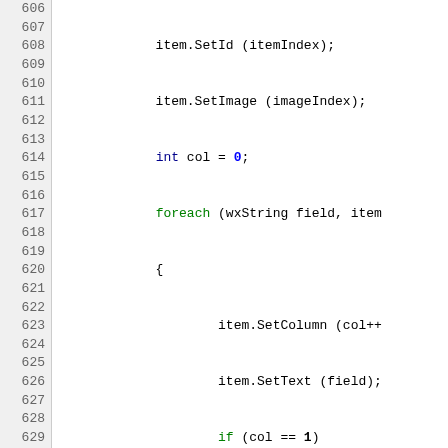[Figure (screenshot): Source code listing lines 606-635 showing C++ code with syntax highlighting. Green keywords (if, continue, return, bool, foreach), blue number literal (0), gray function name (bool GraphicUserInterface::IsTheOnly...). Line numbers shown in left gutter on gray background.]